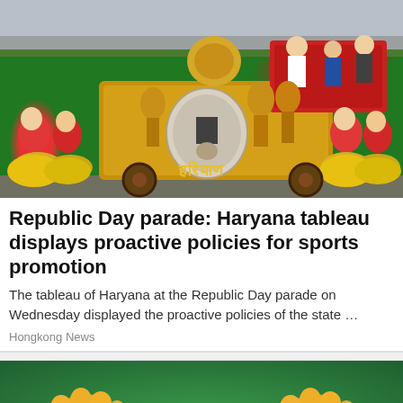[Figure (photo): Haryana tableau at Republic Day parade showing a golden chariot with camels, red platform with dignitaries, and colorful folk dancers in traditional dress on both sides, with Hindi text 'Haryana' visible on the float]
Republic Day parade: Haryana tableau displays proactive policies for sports promotion
The tableau of Haryana at the Republic Day parade on Wednesday displayed the proactive policies of the state …
Hongkong News
[Figure (illustration): Cartoon illustration showing two large yellow/orange cartoon hands (resembling Homer Simpson style) gripping or holding onto a tree branch, against a green/teal background]